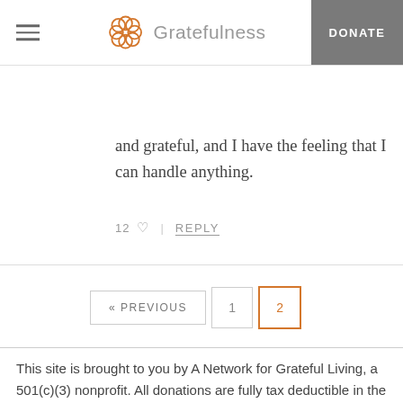Gratefulness | DONATE
and grateful, and I have the feeling that I can handle anything.
12 ♡  |  REPLY
« PREVIOUS  1  2
This site is brought to you by A Network for Grateful Living, a 501(c)(3) nonprofit. All donations are fully tax deductible in the U.S.A.